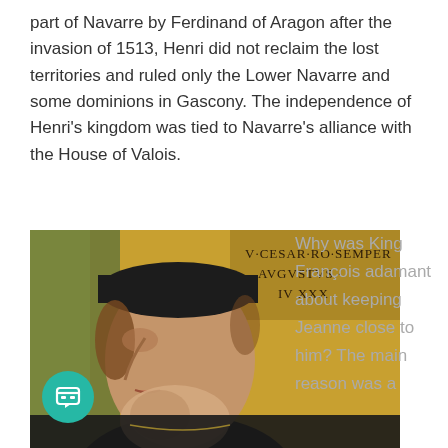part of Navarre by Ferdinand of Aragon after the invasion of 1513, Henri did not reclaim the lost territories and ruled only the Lower Navarre and some dominions in Gascony. The independence of Henri's kingdom was tied to Navarre's alliance with the House of Valois.
[Figure (photo): Portrait painting of a man in profile view facing left, wearing a dark cap and dark clothing, with a beard. Text inscription in the upper right reads 'V·CESAR·RO·SEMPER AVGVSTVS · IV XXX'. Painted in a Renaissance style with golden/olive background.]
Why was King François adamant about keeping Jeanne close to him? The main reason was a